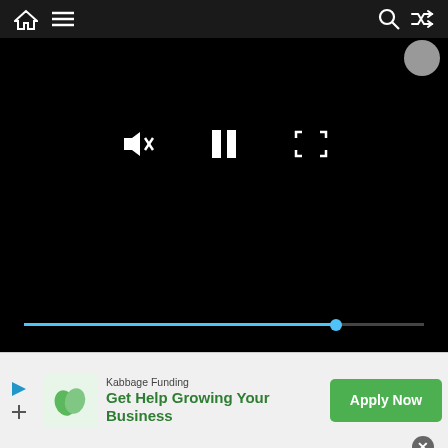[Figure (screenshot): Mobile web browser screenshot showing a video player with black screen, playback controls (mute, pause, fullscreen), a cyan progress bar at ~78% completion, navigation bar at top with home and menu icons on left and search/shuffle icons on right. Below the video is a content area with diamond pattern background, a white card with blue 'Updates' and 'Rulings' tags, and a Kabbage Funding advertisement banner at the bottom reading 'Get Help Growing Your Business' with green 'Apply Now' button.]